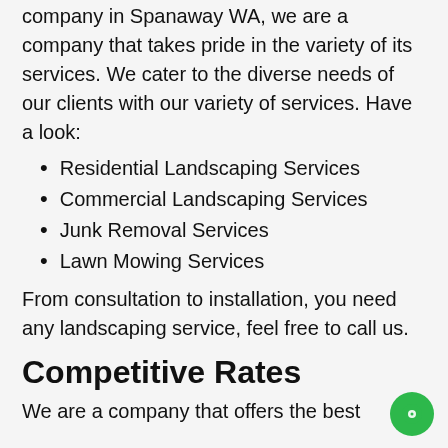primarily known as the best landscaping company in Spanaway WA, we are a company that takes pride in the variety of its services. We cater to the diverse needs of our clients with our variety of services. Have a look:
Residential Landscaping Services
Commercial Landscaping Services
Junk Removal Services
Lawn Mowing Services
From consultation to installation, you need any landscaping service, feel free to call us.
Competitive Rates
We are a company that offers the best